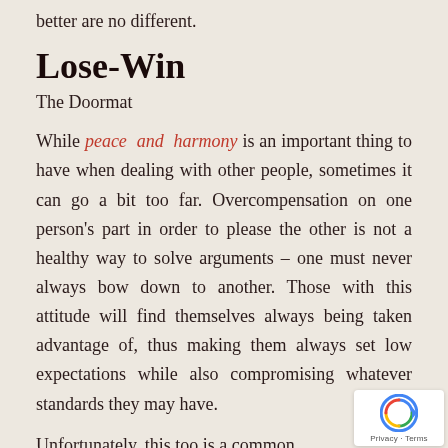better are no different.
Lose-Win
The Doormat
While peace and harmony is an important thing to have when dealing with other people, sometimes it can go a bit too far. Overcompensation on one person's part in order to please the other is not a healthy way to solve arguments – one must never always bow down to another. Those with this attitude will find themselves always being taken advantage of, thus making them always set low expectations while also compromising whatever standards they may have.
Unfortunately, this too is a common